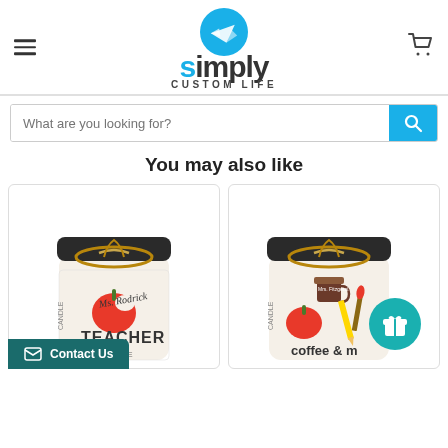[Figure (logo): Simply Custom Life logo with paper airplane icon in blue circle and stylized text]
[Figure (screenshot): Search bar with placeholder text 'What are you looking for?' and blue search button]
You may also like
[Figure (photo): Candle jar with 'Ms. Rodrick TEACHER' label and apple illustration with twine bow]
[Figure (photo): Candle jar with 'Mrs. Fitzgerald Coffee & ...' label with school items illustration, teal gift button overlay]
Contact Us